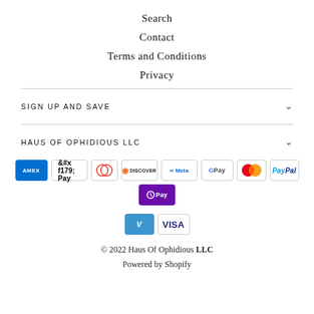Search
Contact
Terms and Conditions
Privacy
SIGN UP AND SAVE
HAUS OF OPHIDIOUS LLC
[Figure (other): Payment method icons: American Express, Apple Pay, Diners Club, Discover, Meta Pay, Google Pay, Mastercard, PayPal, Shop Pay, Venmo, Visa]
© 2022 Haus Of Ophidious LLC
Powered by Shopify